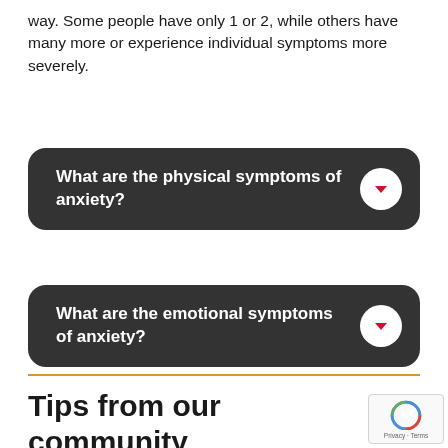way. Some people have only 1 or 2, while others have many more or experience individual symptoms more severely.
[Figure (other): Dark rounded accordion button: 'What are the physical symptoms of anxiety?' with a white circle containing a red downward arrow on the right]
[Figure (other): Dark rounded accordion button: 'What are the emotional symptoms of anxiety?' with a white circle containing a red downward arrow on the right]
Tips from our community